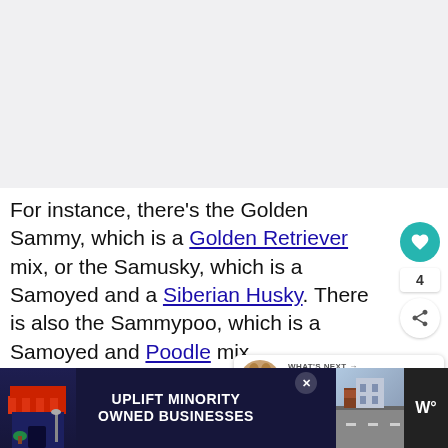[Figure (photo): Image placeholder at top of page (dog photo cropped out)]
For instance, there's the Golden Sammy, which is a Golden Retriever mix, or the Samusky, which is a Samoyed and a Siberian Husky. There is also the Sammypoo, which is a Samoyed and Poodle mix.
[Figure (infographic): WHAT'S NEXT arrow label with thumbnail image of dog and text 'Meet the Cirneco...']
[Figure (infographic): Advertisement banner: UPLIFT MINORITY OWNED BUSINESSES with shop illustration and close button]